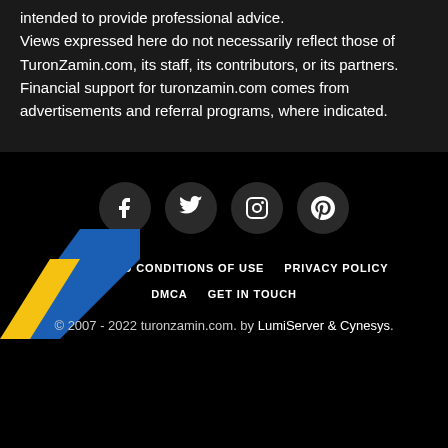intended to provide professional advice. Views expressed here do not necessarily reflect those of TuronZamin.com, its staff, its contributors, or its partners. Financial support for turonzamin.com comes from advertisements and referral programs, where indicated.
[Figure (infographic): Four social media icons (Facebook, Twitter, Instagram, Pinterest) in dark circular buttons]
TERMS AND CONDITIONS OF USE   PRIVACY POLICY   DMCA   GET IN TOUCH
© 2007 - 2022 turonzamin.com. by LumiServer & Cynesys.